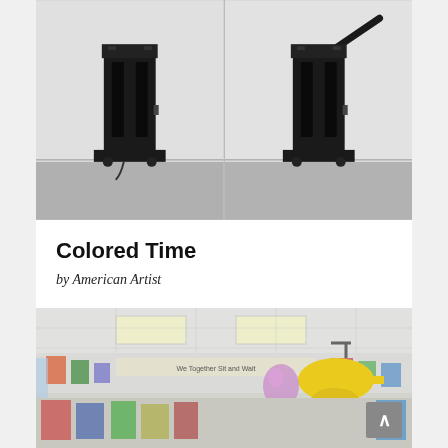[Figure (photo): Two views of a tall black rectangular sculpture/device on a flat base, photographed against a white wall on a gray floor. Left photo shows front view; right photo shows a side/angled view with an arm or handle extending from the top.]
Colored Time
by American Artist
[Figure (photo): Interior of a colorful classroom with children's artwork and decorations on the walls, ceiling lights visible, and a yellow submarine decoration hanging from the ceiling.]